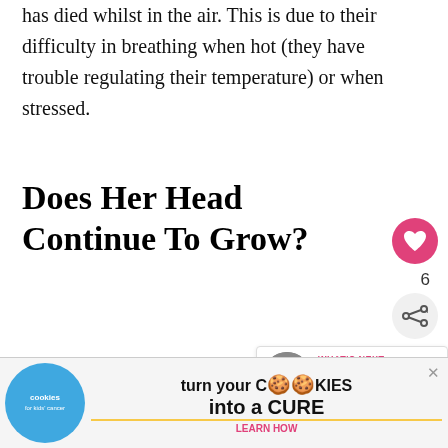has died whilst in the air. This is due to their difficulty in breathing when hot (they have trouble regulating their temperature) or when stressed.
Does Her Head Continue To Grow?
The size of your French Bulldog (I am referring to size here, not mass) will not change much after about a year. The your dog will not continue growing after this p... ...to
[Figure (other): Advertisement banner: cookies for kids' cancer - turn your COOKIES into a CURE LEARN HOW]